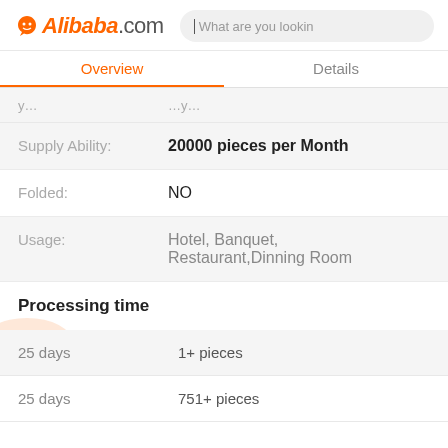Alibaba.com — What are you lookin (search bar)
Overview | Details
| Label | Value |
| --- | --- |
| Supply Ability: | 20000 pieces per Month |
| Folded: | NO |
| Usage: | Hotel, Banquet, Restaurant,Dinning Room |
Processing time
| Time | Quantity |
| --- | --- |
| 25 days | 1+ pieces |
| 25 days | 751+ pieces |